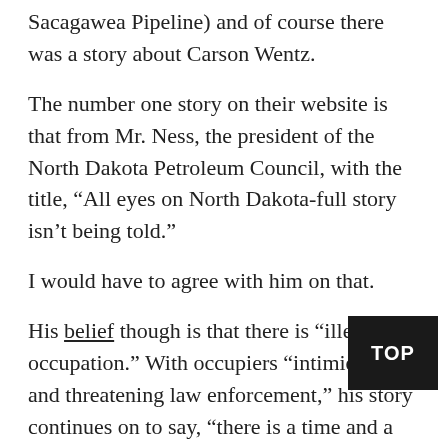Sacagawea Pipeline) and of course there was a story about Carson Wentz.
The number one story on their website is that from Mr. Ness, the president of the North Dakota Petroleum Council, with the title, “All eyes on North Dakota-full story isn’t being told.”
I would have to agree with him on that.
His belief though is that there is “illegal occupation.” With occupiers “intimidating and threatening law enforcement,” his story continues on to say, “there is a time and a place to discuss the merits of this pipeline.”
Finally stating, “It is beyond time to allow construction to continue.”
Personally we didn’t witness any violence.
We experienced nothing but welcoming smiles and